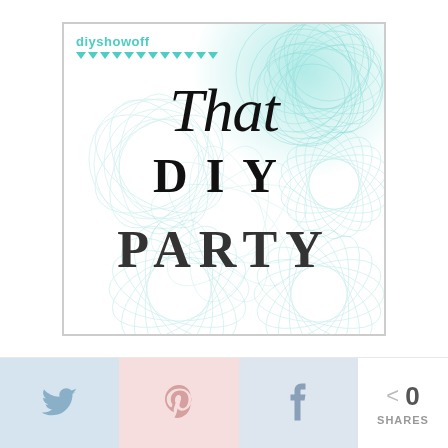[Figure (logo): DIYShowOff 'That DIY Party' logo graphic with teal spirograph decorative background pattern, teal brand name 'diyshowoff' with downward pointing triangle bunting, and large black text reading 'That DIY Party']
[Figure (infographic): Social sharing bar with Twitter (blue), Pinterest (pink), and Facebook (blue-grey) share buttons, each showing bird, P, and f icons respectively, plus a share count showing 0 SHARES]